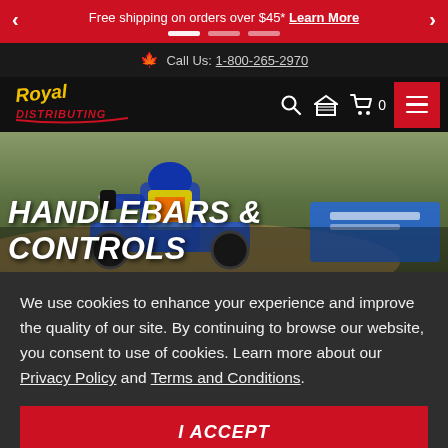Free shipping on orders over $45*  Learn More
Call Us: 1-800-265-2970
[Figure (logo): Royal Distributing logo in yellow and red stylized script]
[Figure (screenshot): Motocross rider on dirt bike wearing blue, orange, and yellow racing gear on dirt track]
HANDLEBARS & CONTROLS
We use cookies to enhance your experience and improve the quality of our site. By continuing to browse our website, you consent to use of cookies. Learn more about our Privacy Policy and Terms and Conditions.
I ACCEPT